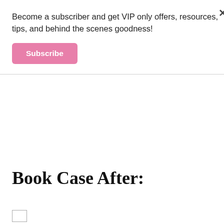Become a subscriber and get VIP only offers, resources, tips, and behind the scenes goodness!
[Figure (other): Pink Subscribe button]
Book Case After:
[Figure (other): Small image placeholder box at bottom]